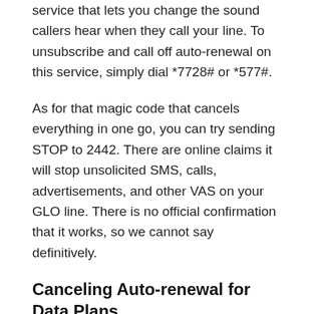service that lets you change the sound callers hear when they call your line. To unsubscribe and call off auto-renewal on this service, simply dial *7728# or *577#.
As for that magic code that cancels everything in one go, you can try sending STOP to 2442. There are online claims it will stop unsolicited SMS, calls, advertisements, and other VAS on your GLO line. There is no official confirmation that it works, so we cannot say definitively.
Canceling Auto-renewal for Data Plans
You can also cancel auto-renewal for data plans. This is particularly more necessary because data plans